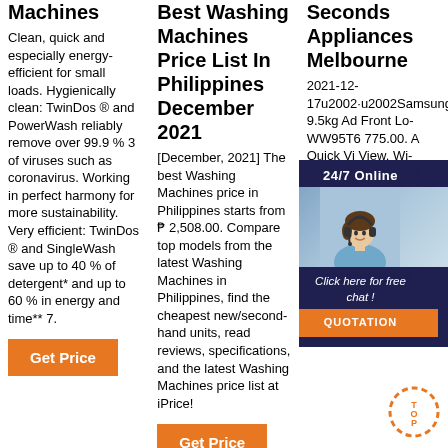Machines
Clean, quick and especially energy-efficient for small loads. Hygienically clean: TwinDos ® and PowerWash reliably remove over 99.9 % 3 of viruses such as coronavirus. Working in perfect harmony for more sustainability. Very efficient: TwinDos ® and SingleWash save up to 40 % of detergent* and up to 60 % in energy and time** 7.
Get Price
Best Washing Machines Price List In Philippines December 2021
[December, 2021] The best Washing Machines price in Philippines starts from ₱ 2,508.00. Compare top models from the latest Washing Machines in Philippines, find the cheapest new/second-hand units, read reviews, specifications, and the latest Washing Machines price list at iPrice!
Get Price
Seconds Appliances Melbourne
2021-12-17u2002·u2002Samsung 9.5kg AddWash Front Load ... WW95T6... 775.00. A Quick View. Wi Compare Samsung AddWash... Load Wa... Samsung 9kg Heat Pump Dryer - 7 Stars Energy rating WW95T654DLE DV90N8289AW. $ ...
Get Price
[Figure (photo): Chat widget overlay showing a woman with headset, '24/7 Online' text, 'Click here for free chat!' message, and orange QUOTATION button]